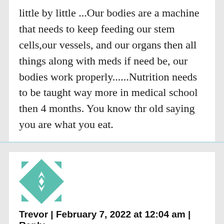little by little ...Our bodies are a machine that needs to keep feeding our stem cells,our vessels, and our organs then all things along with meds if need be, our bodies work properly......Nutrition needs to be taught way more in medical school then 4 months. You know thr old saying you are what you eat.
[Figure (illustration): Teal and white geometric quilt-pattern avatar icon]
Trevor | February 7, 2022 at 12:04 am | Reply
Have you ever met a fat person that runs marathons? Don't think so. Genetics. Lol.